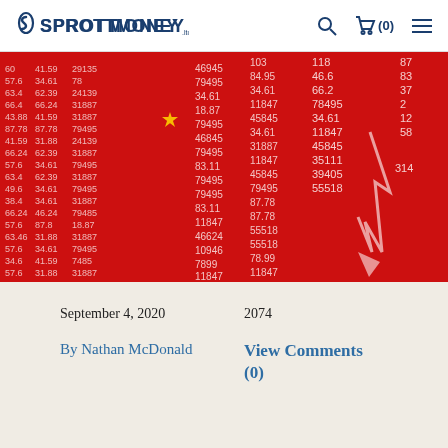SPROTTMONEY
[Figure (photo): Red Chinese stock market ticker board overlaid with the Chinese flag showing declining stock numbers and a downward arrow chart]
September 4, 2020
2074
By Nathan McDonald
View Comments (0)